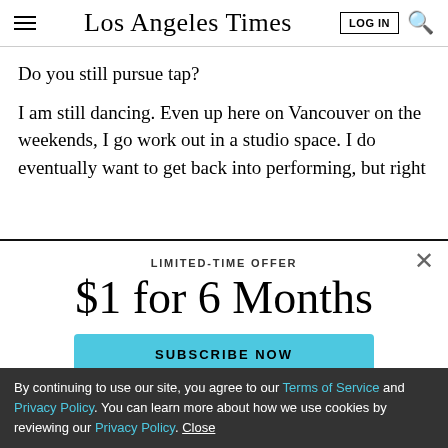Los Angeles Times
Do you still pursue tap?
I am still dancing. Even up here on Vancouver on the weekends, I go work out in a studio space. I do eventually want to get back into performing, but right
LIMITED-TIME OFFER
$1 for 6 Months
SUBSCRIBE NOW
By continuing to use our site, you agree to our Terms of Service and Privacy Policy. You can learn more about how we use cookies by reviewing our Privacy Policy. Close